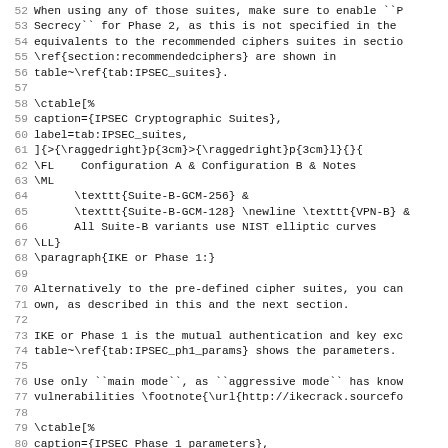52 When using any of those suites, make sure to enable ``P
53 Secrecy`` for Phase 2, as this is not specified in the
54 equivalents to the recommended ciphers suites in sectio
55 \ref{section:recommendedciphers} are shown in
56 table~\ref{tab:IPSEC_suites}.
57 
58 \ctable[%
59 caption={IPSEC Cryptographic Suites},
60 label=tab:IPSEC_suites,
61 ]{>{\raggedright}p{3cm}>{\raggedright}p{3cm}l}{}{[
62 \FL    Configuration A & Configuration B & Notes
63 \ML
64       \texttt{Suite-B-GCM-256} &
65       \texttt{Suite-B-GCM-128} \newline \texttt{VPN-B} &
66       All Suite-B variants use NIST elliptic curves
67 \LL}
68 \paragraph{IKE or Phase 1:}
69 
70 Alternatively to the pre-defined cipher suites, you can
71 own, as described in this and the next section.
72 
73 IKE or Phase 1 is the mutual authentication and key exc
74 table~\ref{tab:IPSEC_ph1_params} shows the parameters.
75 
76 Use only ``main mode``, as ``aggressive mode`` has know
77 vulnerabilities \footnote{\url{http://ikecrack.sourcefo
78 
79 \ctable[%
80 caption={IPSEC Phase 1 parameters},
81 label=tab:IPSEC_ph1_params,
82 ]{lll}{}{%
83 \FL    & Configuration A & Configuration B